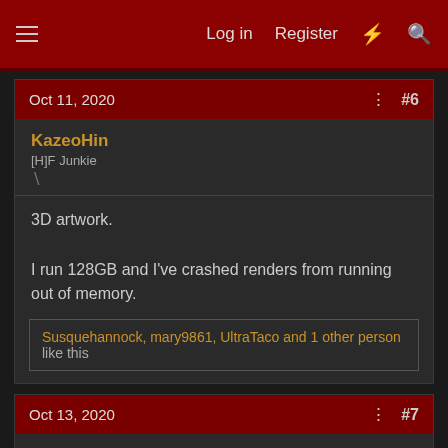Log in  Register  #  Search
Oct 11, 2020  #6
KazeoHin
[H]F Junkie
3D artwork.

I run 128GB and I've crashed renders from running out of memory.
Susquehannock, mary9861, UltraTaco and 1 other person like this
Oct 13, 2020  #7
Kardonxt
2[H]4U
It doesn't take much ram, but back before SSDs were cheap...